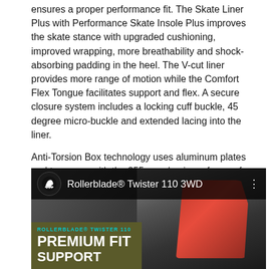ensures a proper performance fit. The Skate Liner Plus with Performance Skate Insole Plus improves the skate stance with upgraded cushioning, improved wrapping, more breathability and shock-absorbing padding in the heel. The V-cut liner provides more range of motion while the Comfort Flex Tongue facilitates support and flex. A secure closure system includes a locking cuff buckle, 45 degree micro-buckle and extended lacing into the liner.
Anti-Torsion Box technology uses aluminum plates and teams up with the 255mm aluminum frames for maximum power transfer and control. Rollerblade 110mm Hydrogen wheels paired with ILQ-9 Classic Plus bearings give you advanced grip and speed.
[Figure (screenshot): Video thumbnail for 'Rollerblade® Twister 110 3WD' showing a red and black inline skate boot. Top overlay bar shows Rollerblade logo circle, video title text, and a three-dot menu. Bottom left shows olive/dark background with 'ROLLERBLADE® TWISTER 110' label and 'PREMIUM FIT SUPPORT' text in large bold white letters.]